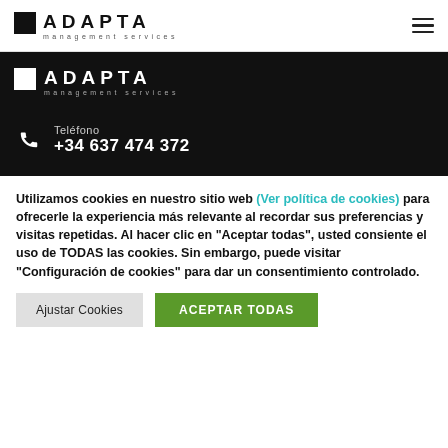[Figure (logo): Adapta Management Services logo (dark version) with hamburger menu icon]
[Figure (logo): Adapta Management Services logo (light/white version on black background) with phone contact: Teléfono +34 637 474 372]
Utilizamos cookies en nuestro sitio web (Ver política de cookies) para ofrecerle la experiencia más relevante al recordar sus preferencias y visitas repetidas. Al hacer clic en "Aceptar todas", usted consiente el uso de TODAS las cookies. Sin embargo, puede visitar "Configuración de cookies" para dar un consentimiento controlado.
Ajustar Cookies | ACEPTAR TODAS